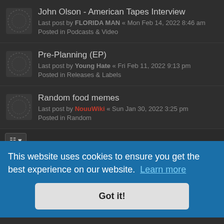John Olson - American Tapes Interview
Last post by FLORIDA MAN « Mon Feb 14, 2022 8:46 am
Posted in Podcasts & Video
Pre-Planning (EP)
Last post by Young Hate « Fri Feb 11, 2022 9:13 pm
Posted in Releases & Labels
Random food memes
Last post by NouuWiki « Sun Jan 30, 2022 3:25 pm
Posted in Random
Search found 144 matches  1 2 3 4 5 6 >
This website uses cookies to ensure you get the best experience on our website. Learn more
Got it!